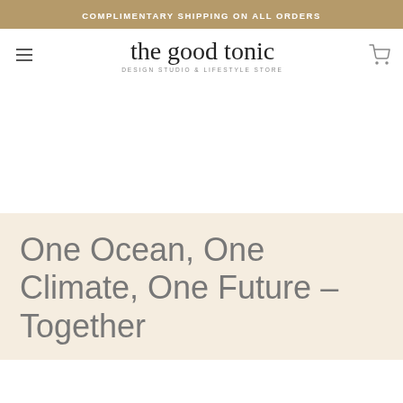COMPLIMENTARY SHIPPING ON ALL ORDERS
[Figure (logo): The Good Tonic - Design Studio & Lifestyle Store logo with hamburger menu and cart icon]
One Ocean, One Climate, One Future – Together